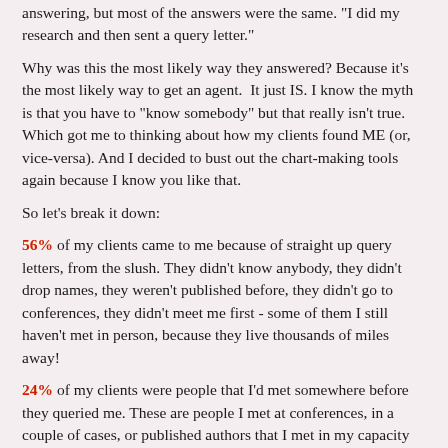answering, but most of the answers were the same. "I did my research and then sent a query letter."
Why was this the most likely way they answered? Because it's the most likely way to get an agent. It just IS. I know the myth is that you have to "know somebody" but that really isn't true. Which got me to thinking about how my clients found ME (or, vice-versa). And I decided to bust out the chart-making tools again because I know you like that.
So let's break it down:
56% of my clients came to me because of straight up query letters, from the slush. They didn't know anybody, they didn't drop names, they weren't published before, they didn't go to conferences, they didn't meet me first - some of them I still haven't met in person, because they live thousands of miles away!
24% of my clients were people that I'd met somewhere before they queried me. These are people I met at conferences, in a couple of cases, or published authors that I met in my capacity as a bookseller. (There's also a former co-worker in the mix, an SCBWI RA, and a former neighbor. What can I say, I do get out.